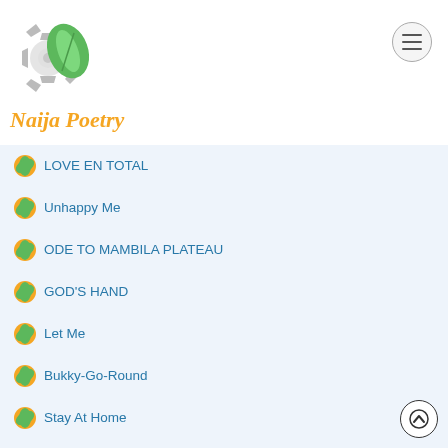Naija Poetry
LOVE EN TOTAL
Unhappy Me
ODE TO MAMBILA PLATEAU
GOD'S HAND
Let Me
Bukky-Go-Round
Stay At Home
I
ODE TO ANAMBRA WAXBILL BIRD
NOT AFRAID (For Lekki Massacres)
Dirty Glasses
The Call Of Nigeria
A NEW NIGERIA IS BORN
October 20, 2020
THE GOWN OF TROUBLE
NO MORE SARS NO MORE SWAT NO MORE POLICE BRUTALITY
Pastoral